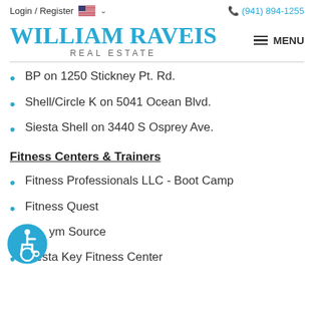Login / Register  (941) 894-1255
[Figure (logo): William Raveis Real Estate logo in teal/blue with MENU hamburger button]
BP on 1250 Stickney Pt. Rd.
Shell/Circle K on 5041 Ocean Blvd.
Siesta Shell on 3440 S Osprey Ave.
Fitness Centers & Trainers
Fitness Professionals LLC - Boot Camp
Fitness Quest
Gym Source
Siesta Key Fitness Center